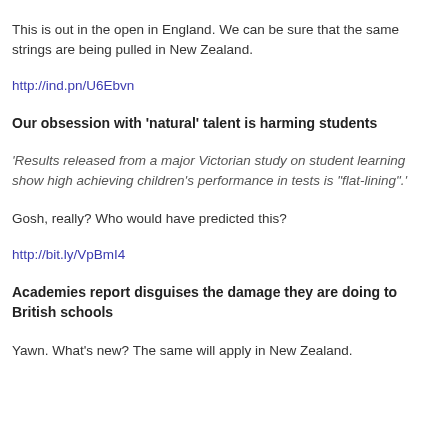This is out in the open in England. We can be sure that the same strings are being pulled in New Zealand.
http://ind.pn/U6Ebvn
Our obsession with ‘natural’ talent is harming students
‘Results released from a major Victorian study on student learning show high achieving children’s performance in tests is “flat-lining”.’
Gosh, really? Who would have predicted this?
http://bit.ly/VpBmI4
Academies report disguises the damage they are doing to British schools
Yawn. What’s new? The same will apply in New Zealand.